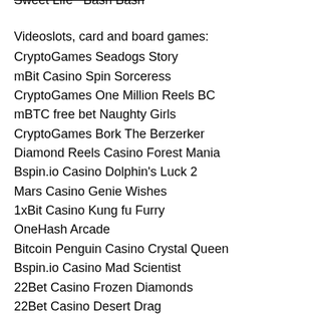Sweet Life  Bash Bash
Videoslots, card and board games:
CryptoGames Seadogs Story
mBit Casino Spin Sorceress
CryptoGames One Million Reels BC
mBTC free bet Naughty Girls
CryptoGames Bork The Berzerker
Diamond Reels Casino Forest Mania
Bspin.io Casino Dolphin's Luck 2
Mars Casino Genie Wishes
1xBit Casino Kung fu Furry
OneHash Arcade
Bitcoin Penguin Casino Crystal Queen
Bspin.io Casino Mad Scientist
22Bet Casino Frozen Diamonds
22Bet Casino Desert Drag
Bitcoin Penguin Casino The Slotfather
https://www.blindambition.co.uk/profile/clydegrandi7874663/profile